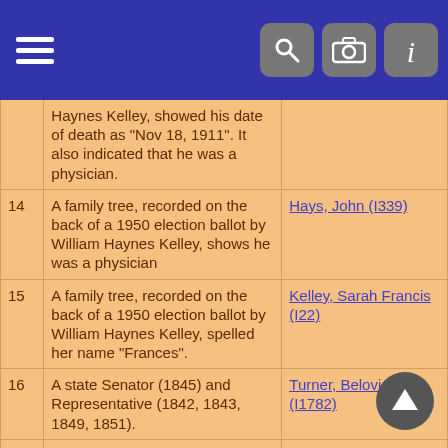Navigation bar with hamburger menu and search/camera/info icons
| # | Description | Person |
| --- | --- | --- |
|  | Haynes Kelley, showed his date of death as "Nov 18, 1911". It also indicated that he was a physician. |  |
| 14 | A family tree, recorded on the back of a 1950 election ballot by William Haynes Kelley, shows he was a physician | Hays, John (I339) |
| 15 | A family tree, recorded on the back of a 1950 election ballot by William Haynes Kelley, spelled her name "Frances". | Kelley, Sarah Francis (I22) |
| 16 | A state Senator (1845) and Representative (1842, 1843, 1849, 1851). | Turner, Belovid Love (I1782) |
| 17 | Accidentally drank from a container which had contained nicotine. | Stephenson, Charles Onby (I917) |
| 18 | According to "Past and Present of Will County" by W. W. Stevens (info fm
Donald W. Gant) he and Salome had four sons and one daughter. The
daughter was married in Joliet and | Bush, Stephen Nichols (I529) |